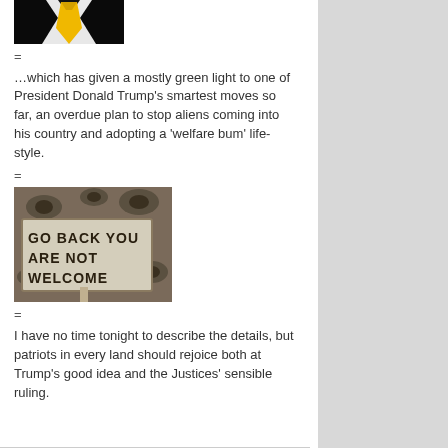[Figure (photo): Photo of a person in a black suit with a yellow tie, cropped to show chest/torso area]
=
…which has given a mostly green light to one of President Donald Trump's smartest moves so far, an overdue plan to stop aliens coming into his country and adopting a 'welfare bum' life-style.
=
[Figure (photo): Photo of a sign reading 'GO BACK YOU ARE NOT WELCOME' against a graffiti background with eye motifs]
=
I have no time tonight to describe the details, but patriots in every land should rejoice both at Trump's good idea and the Justices' sensible ruling.